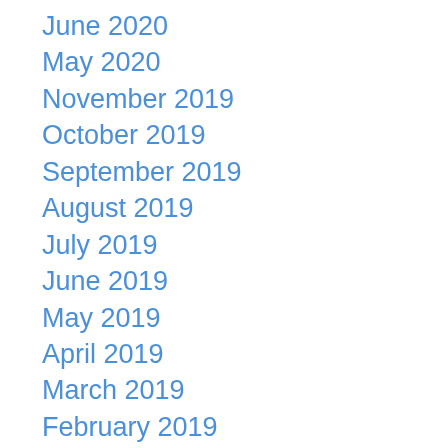June 2020
May 2020
November 2019
October 2019
September 2019
August 2019
July 2019
June 2019
May 2019
April 2019
March 2019
February 2019
January 2019
December 2018
November 2018